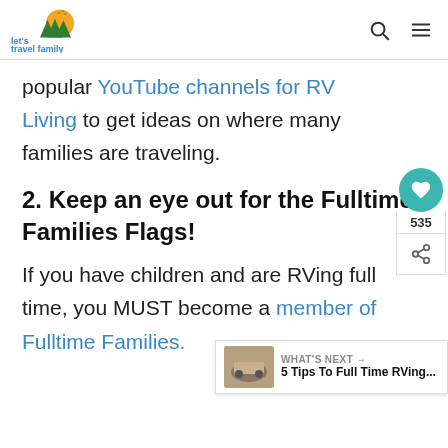let's travel family
popular YouTube channels for RV Living to get ideas on where many families are traveling.
2. Keep an eye out for the Fulltime Families Flags!
If you have children and are RVing full time, you MUST become a member of Fulltime Families.